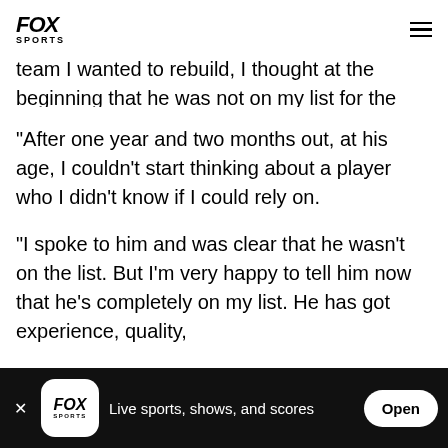FOX SPORTS
team I wanted to rebuild, I thought at the beginning that he was not on my list for the future.
"After one year and two months out, at his age, I couldn't start thinking about a player who I didn't know if I could rely on.
"I spoke to him and was clear that he wasn't on the list. But I'm very happy to tell him now that he's completely on my list. He has got experience, quality,
FOX SPORTS — Live sports, shows, and scores — Open